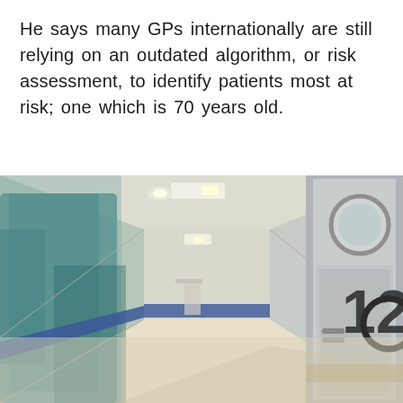He says many GPs internationally are still relying on an outdated algorithm, or risk assessment, to identify patients most at risk; one which is 70 years old.
[Figure (photo): Hospital corridor photograph taken from a low angle, showing a healthcare worker in teal/green scrubs blurred on the left side, a long hallway with ceiling lights, blue accent stripe along the wall, and a door marked with the number 12 on the right side with a circular window above it.]